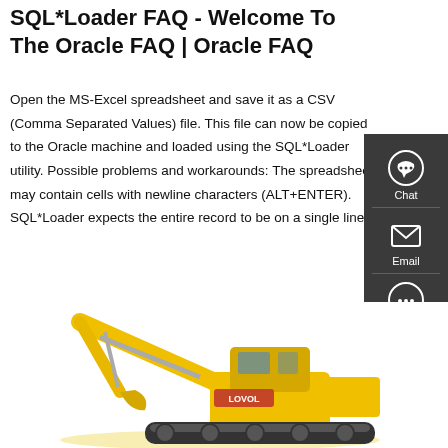SQL*Loader FAQ - Welcome To The Oracle FAQ | Oracle FAQ
Open the MS-Excel spreadsheet and save it as a CSV (Comma Separated Values) file. This file can now be copied to the Oracle machine and loaded using the SQL*Loader utility. Possible problems and workarounds: The spreadsheet may contain cells with newline characters (ALT+ENTER). SQL*Loader expects the entire record to be on a single line.
[Figure (screenshot): Red 'Get a quote' button and a dark sidebar with Chat, Email, and Contact icons]
[Figure (photo): Yellow Lovol excavator construction machine on white background]